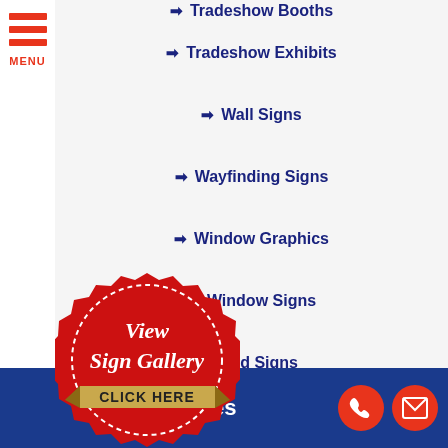[Figure (other): Hamburger menu icon with three red horizontal lines and MENU label in red]
→ Tradeshow Booths (partial, top)
→ Tradeshow Exhibits
→ Wall Signs
→ Wayfinding Signs
→ Window Graphics
→ Window Signs
→ ...ard Signs (partially obscured)
[Figure (illustration): Red seal badge with white cursive text 'View Sign Gallery' and gold ribbon banner with 'CLICK HERE' in dark text]
Industries